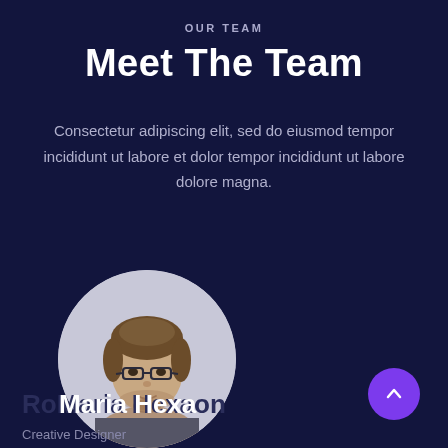OUR TEAM
Meet The Team
Consectetur adipiscing elit, sed do eiusmod tempor incididunt ut labore et dolor tempor incididunt ut labore dolore magna.
[Figure (photo): Circular portrait photo of a young man with glasses and short brown hair]
RoMaria Hexaon
Creative Designer